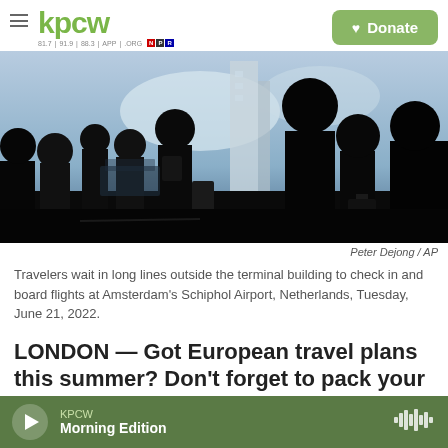kpcw — Donate
[Figure (photo): Silhouettes of travelers with luggage waiting in long lines outside an airport terminal building, with a bright sky in the background. Dark, high-contrast image.]
Peter Dejong / AP
Travelers wait in long lines outside the terminal building to check in and board flights at Amsterdam's Schiphol Airport, Netherlands, Tuesday, June 21, 2022.
LONDON — Got European travel plans this summer? Don't forget to pack your passport,
KPCW Morning Edition